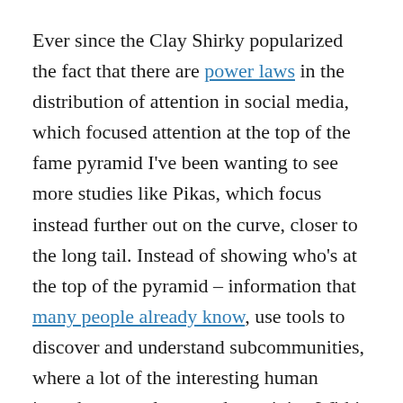Ever since the Clay Shirky popularized the fact that there are power laws in the distribution of attention in social media, which focused attention at the top of the fame pyramid I've been wanting to see more studies like Pikas, which focus instead further out on the curve, closer to the long tail. Instead of showing who's at the top of the pyramid – information that many people already know, use tools to discover and understand subcommunities, where a lot of the interesting human interchange, culture, and creativity. Within these subcultures, a closer look can show the distinctive attributes of the community itself. It's helpful that Pikas herself is a member of